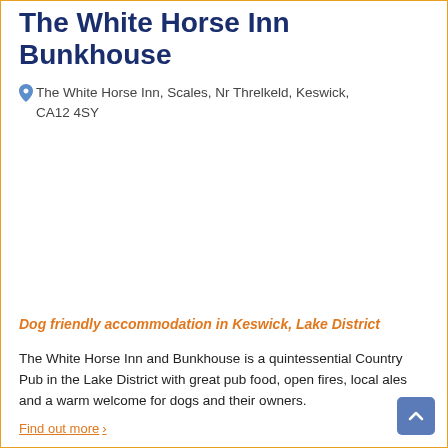The White Horse Inn Bunkhouse
The White Horse Inn, Scales, Nr Threlkeld, Keswick, CA12 4SY
Dog friendly accommodation in Keswick, Lake District
The White Horse Inn and Bunkhouse is a quintessential Country Pub in the Lake District with great pub food, open fires, local ales and a warm welcome for dogs and their owners.
Find out more ›